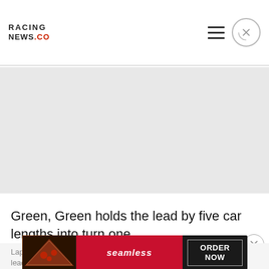RACING NEWS.CO
[Figure (photo): Grey placeholder image area, appears to be a racing photo that has not loaded]
Green, Green holds the lead by five car lengths into turn one.
[Figure (other): Seamless food delivery advertisement banner with pizza image on left, red 'seamless' label in center, and 'ORDER NOW' button on right]
Lap 7...leader...car.